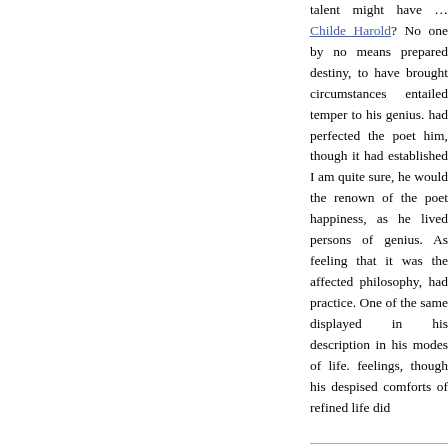talent might have … Childe Harold? No one by no means prepared destiny, to have brought circumstances entailed temper to his genius. had perfected the poet him, though it had established I am quite sure, he would the renown of the poet happiness, as he lived persons of genius. As feeling that it was the affected philosophy, h practice. One of the s displayed in his description in his modes of life. feelings, though his d comforts of refined li did